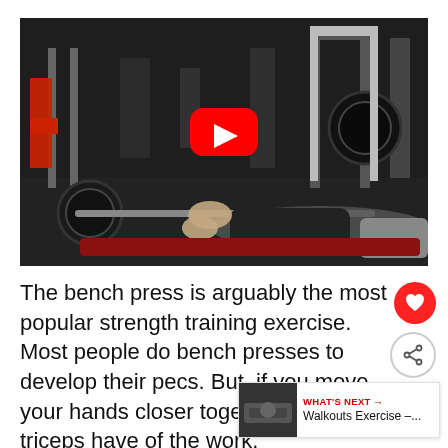[Figure (photo): A person lying on a bench press in a gym, holding a barbell loaded with weight plates. A red YouTube play button overlay is centered on the image. The gym background shows various weight machines and equipment.]
The bench press is arguably the most popular strength training exercise. Most people do bench presses to develop their pecs. But, if you move your hands closer together, your triceps have of the work.